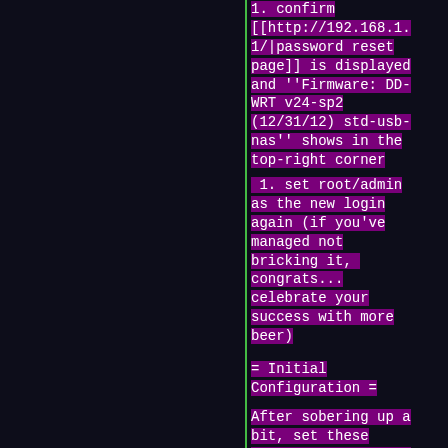1. confirm [[http://192.168.1.1/|password reset page]] is displayed and ''Firmware: DD-WRT v24-sp2 (12/31/12) std-usb-nas'' shows in the top-right corner
1. set root/admin as the new login again (if you've managed not bricking it, congrats... celebrate your success with more beer)
= Initial Configuration =
After sobering up a bit, set these basic configuration